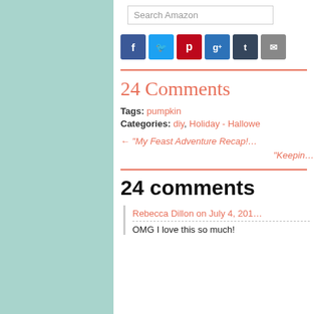[Figure (screenshot): Search Amazon input box]
[Figure (infographic): Social share buttons: Facebook (blue), Twitter (light blue), Pinterest (red), Google+ (blue), Tumblr (dark navy), Email (grey)]
24 Comments
Tags: pumpkin
Categories: diy, Holiday - Hallowe…
← "My Feast Adventure Recap!… "Keepin…
24 comments
Rebecca Dillon on July 4, 201…
OMG I love this so much!